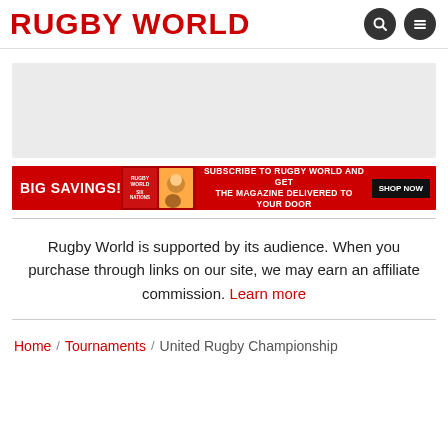RUGBY WORLD
[Figure (other): Grey advertisement placeholder box]
[Figure (infographic): Red banner ad: BIG SAVINGS! Subscribe to Rugby World and get the magazine delivered to your door. SHOP NOW]
Rugby World is supported by its audience. When you purchase through links on our site, we may earn an affiliate commission. Learn more
Home / Tournaments / United Rugby Championship